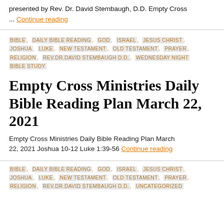presented by Rev. Dr. David Stembaugh, D.D. Empty Cross ... Continue reading
BIBLE, DAILY BIBLE READING, GOD, ISRAEL, JESUS CHRIST, JOSHUA, LUKE, NEW TESTAMENT, OLD TESTAMENT, PRAYER, RELIGION, REV.DR.DAVID STEMBAUGH D.D., WEDNESDAY NIGHT BIBLE STUDY
Empty Cross Ministries Daily Bible Reading Plan March 22, 2021
Empty Cross Ministries Daily Bible Reading Plan March 22, 2021 Joshua 10-12 Luke 1:39-56 Continue reading
BIBLE, DAILY BIBLE READING, GOD, ISRAEL, JESUS CHRIST, JOSHUA, LUKE, NEW TESTAMENT, OLD TESTAMENT, PRAYER, RELIGION, REV.DR.DAVID STEMBAUGH D.D., UNCATEGORIZED